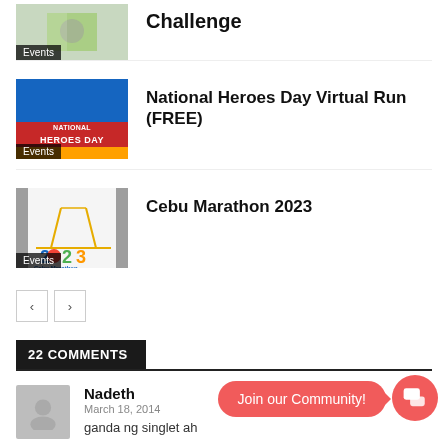[Figure (photo): Partial event thumbnail with Events badge, showing a challenge event]
Challenge
[Figure (photo): National Heroes Day event thumbnail with Philippine flag colors and Heroes Day branding]
National Heroes Day Virtual Run (FREE)
[Figure (photo): Cebu Marathon 2023 event thumbnail with golden gate bridge and 2023 colorful text]
Cebu Marathon 2023
< >  pagination buttons
22 COMMENTS
[Figure (photo): Grey avatar silhouette for commenter Nadeth]
Nadeth
March 18, 2014
ganda ng singlet ah
Join our Community!